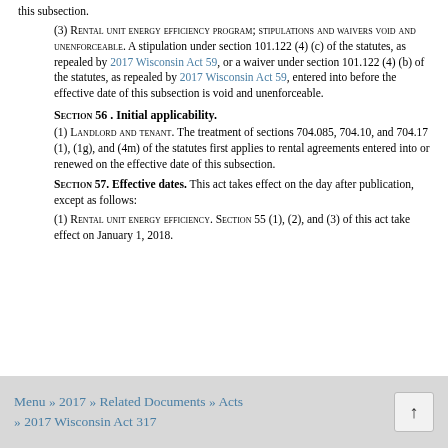this subsection.
(3) RENTAL UNIT ENERGY EFFICIENCY PROGRAM; STIPULATIONS AND WAIVERS VOID AND UNENFORCEABLE. A stipulation under section 101.122 (4) (c) of the statutes, as repealed by 2017 Wisconsin Act 59, or a waiver under section 101.122 (4) (b) of the statutes, as repealed by 2017 Wisconsin Act 59, entered into before the effective date of this subsection is void and unenforceable.
Section 56. Initial applicability.
(1) LANDLORD AND TENANT. The treatment of sections 704.085, 704.10, and 704.17 (1), (1g), and (4m) of the statutes first applies to rental agreements entered into or renewed on the effective date of this subsection.
SECTION 57. Effective dates. This act takes effect on the day after publication, except as follows:
(1) RENTAL UNIT ENERGY EFFICIENCY. SECTION 55 (1), (2), and (3) of this act take effect on January 1, 2018.
Menu » 2017 » Related Documents » Acts » 2017 Wisconsin Act 317